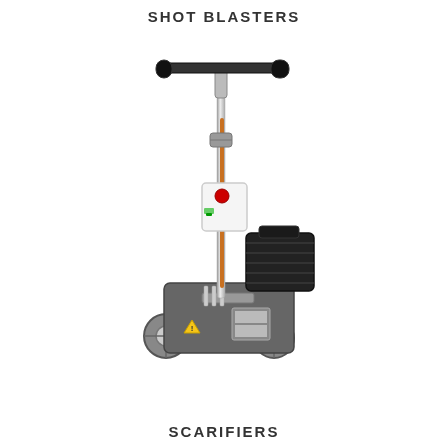SHOT BLASTERS
[Figure (photo): A shot blaster machine with a vertical handle bar featuring hand grips, a control panel with a red button, an orange/copper-colored shaft, a black electric motor mounted on a grey base unit with wheels and a metal frame.]
SCARIFIERS